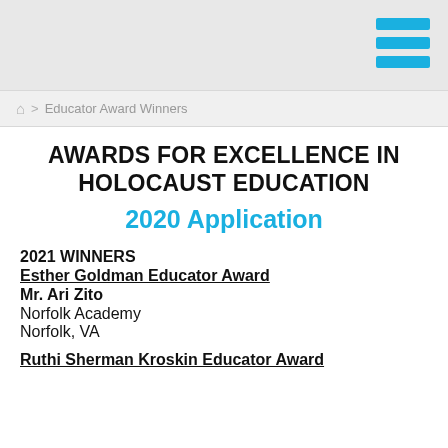[Figure (other): Website header bar with hamburger menu icon (three horizontal blue bars) in top right corner on a light gray background]
🏠 > Educator Award Winners
AWARDS FOR EXCELLENCE IN HOLOCAUST EDUCATION
2020 Application
2021 WINNERS
Esther Goldman Educator Award
Mr. Ari Zito
Norfolk Academy
Norfolk, VA
Ruthi Sherman Kroskin Educator Award